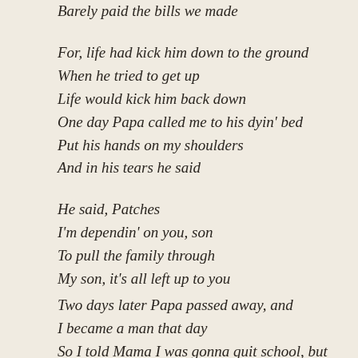Barely paid the bills we made
For, life had kick him down to the ground
When he tried to get up
Life would kick him back down
One day Papa called me to his dyin' bed
Put his hands on my shoulders
And in his tears he said
He said, Patches
I'm dependin' on you, son
To pull the family through
My son, it's all left up to you
Two days later Papa passed away, and
I became a man that day
So I told Mama I was gonna quit school, but